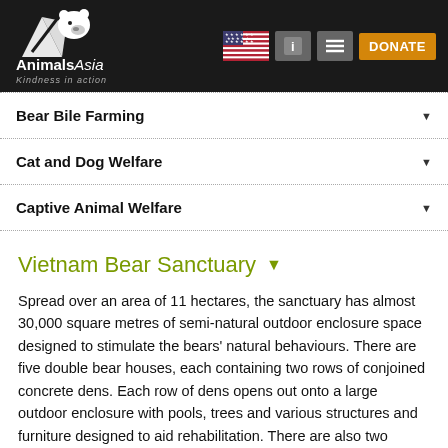[Figure (logo): Animals Asia logo with white bear and text 'AnimalsAsia Kindness in action' on dark background, with US flag, icons, and orange DONATE button]
Bear Bile Farming
Cat and Dog Welfare
Captive Animal Welfare
Vietnam Bear Sanctuary
Spread over an area of 11 hectares, the sanctuary has almost 30,000 square metres of semi-natural outdoor enclosure space designed to stimulate the bears' natural behaviours. There are five double bear houses, each containing two rows of conjoined concrete dens. Each row of dens opens out onto a large outdoor enclosure with pools, trees and various structures and furniture designed to aid rehabilitation. There are also two houses with no outdoor access, a polytunnel area with cages for housing bears recovering from surgery, and an